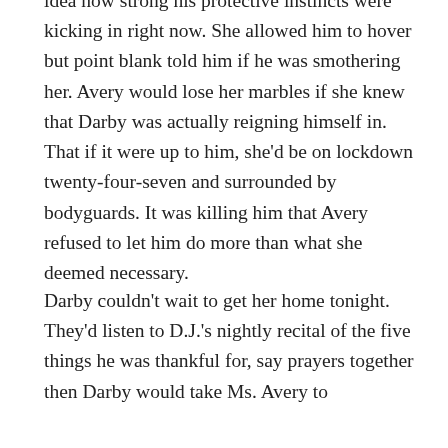idea how strong his protective instincts were kicking in right now. She allowed him to hover but point blank told him if he was smothering her. Avery would lose her marbles if she knew that Darby was actually reigning himself in. That if it were up to him, she'd be on lockdown twenty-four-seven and surrounded by bodyguards. It was killing him that Avery refused to let him do more than what she deemed necessary.
Darby couldn't wait to get her home tonight. They'd listen to D.J.'s nightly recital of the five things he was thankful for, say prayers together then Darby would take Ms. Avery to